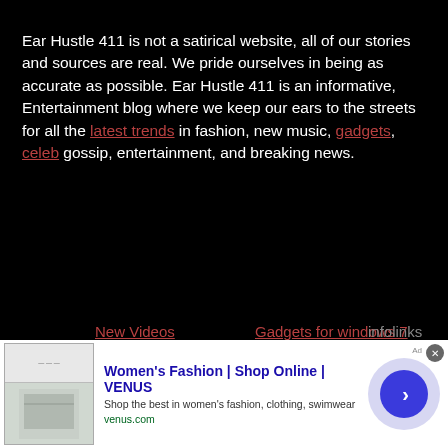Ear Hustle 411 is not a satirical website, all of our stories and sources are real. We pride ourselves in being as accurate as possible. Ear Hustle 411 is an informative, Entertainment blog where we keep our ears to the streets for all the latest trends in fashion, new music, gadgets, celeb gossip, entertainment, and breaking news.
New Videos
Gadgets for windows 7
infolinks
[Figure (infographic): Social media icons: Facebook, Twitter, Pinterest, Instagram, Google+, YouTube, RSS]
RECENT POSTS
[Figure (screenshot): Advertisement banner: Women's Fashion | Shop Online | VENUS. Shop the best in women's fashion, clothing, swimwear. venus.com]